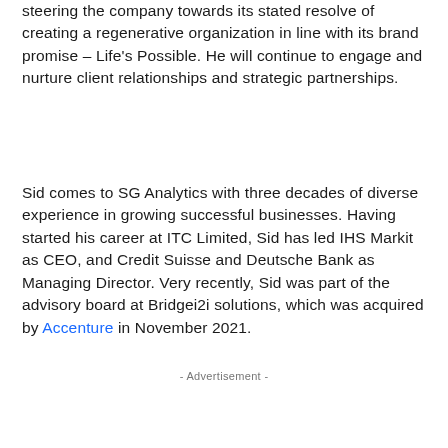steering the company towards its stated resolve of creating a regenerative organization in line with its brand promise – Life's Possible. He will continue to engage and nurture client relationships and strategic partnerships.
Sid comes to SG Analytics with three decades of diverse experience in growing successful businesses. Having started his career at ITC Limited, Sid has led IHS Markit as CEO, and Credit Suisse and Deutsche Bank as Managing Director. Very recently, Sid was part of the advisory board at Bridgei2i solutions, which was acquired by Accenture in November 2021.
- Advertisement -